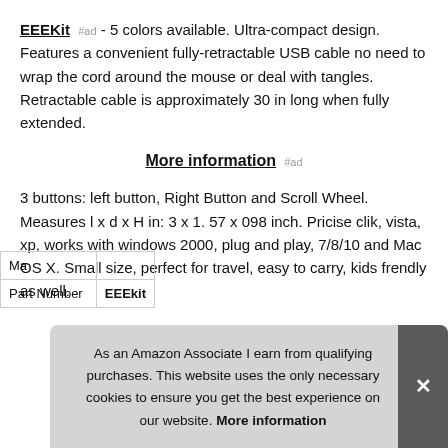EEEKit #ad - 5 colors available. Ultra-compact design. Features a convenient fully-retractable USB cable no need to wrap the cord around the mouse or deal with tangles. Retractable cable is approximately 30 in long when fully extended.
More information #ad
3 buttons: left button, Right Button and Scroll Wheel. Measures l x d x H in: 3 x 1. 57 x 098 inch. Pricise clik, vista, xp, works with windows 2000, plug and play, 7/8/10 and Mac OS X. Small size, perfect for travel, easy to carry, kids frendly as well.
| Ma |  |
| Part Number | EEEkit |
As an Amazon Associate I earn from qualifying purchases. This website uses the only necessary cookies to ensure you get the best experience on our website. More information